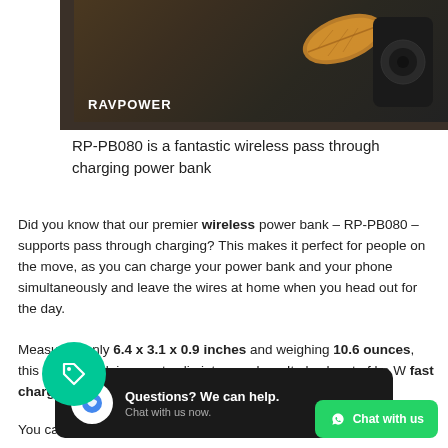[Figure (photo): RAVPower product photo showing a wireless power bank on a dark wooden surface with an autumn leaf. RAVPower branding visible in white text at bottom left.]
RP-PB080 is a fantastic wireless pass through charging power bank
Did you know that our premier wireless power bank – RP-PB080 – supports pass through charging? This makes it perfect for people on the move, as you can charge your power bank and your phone simultaneously and leave the wires at home when you head out for the day.
Measuring only 6.4 x 3.1 x 0.9 inches and weighing 10.6 ounces, this power bank is easy to slip into your bag. It also ha... st of bo... W fast charging for... e and 1... pi...
You can read a detailed review from an everyday user or learn